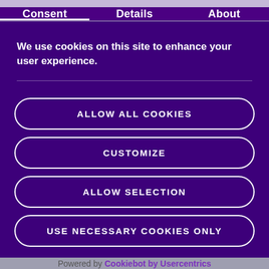Consent | Details | About
We use cookies on this site to enhance your user experience.
ALLOW ALL COOKIES
CUSTOMIZE
ALLOW SELECTION
USE NECESSARY COOKIES ONLY
Powered by Cookiebot by Usercentrics